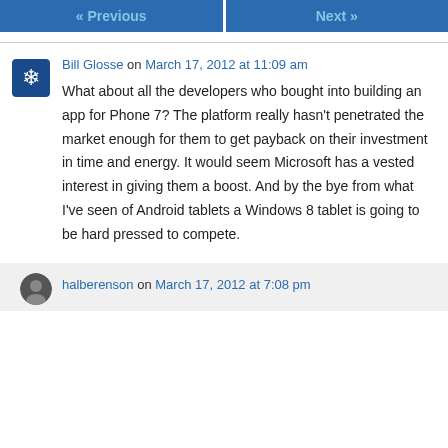« Previous   Next »
Bill Glosse on March 17, 2012 at 11:09 am
What about all the developers who bought into building an app for Phone 7? The platform really hasn't penetrated the market enough for them to get payback on their investment in time and energy. It would seem Microsoft has a vested interest in giving them a boost. And by the bye from what I've seen of Android tablets a Windows 8 tablet is going to be hard pressed to compete.
halberenson on March 17, 2012 at 7:08 pm